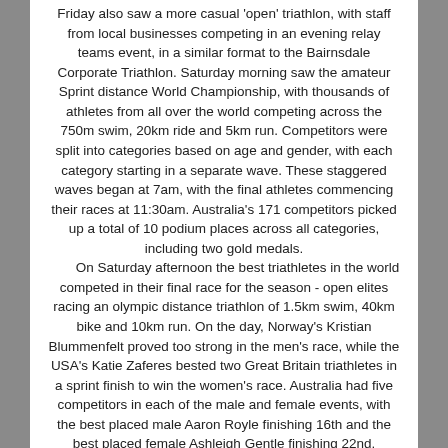Friday also saw a more casual 'open' triathlon, with staff from local businesses competing in an evening relay teams event, in a similar format to the Bairnsdale Corporate Triathlon. Saturday morning saw the amateur Sprint distance World Championship, with thousands of athletes from all over the world competing across the 750m swim, 20km ride and 5km run. Competitors were split into categories based on age and gender, with each category starting in a separate wave. These staggered waves began at 7am, with the final athletes commencing their races at 11:30am. Australia's 171 competitors picked up a total of 10 podium places across all categories, including two gold medals. On Saturday afternoon the best triathletes in the world competed in their final race for the season - open elites racing an olympic distance triathlon of 1.5km swim, 40km bike and 10km run. On the day, Norway's Kristian Blummenfelt proved too strong in the men's race, while the USA's Katie Zaferes bested two Great Britain triathletes in a sprint finish to win the women's race. Australia had five competitors in each of the male and female events, with the best placed male Aaron Royle finishing 16th and the best placed female Ashleigh Gentle finishing 22nd. Bairnsdale professional triathlete Charlotte McShane finished in 42nd position. After a season of 10 races across five continents held over six months, Frenchman Vincent Luis was crowned male World